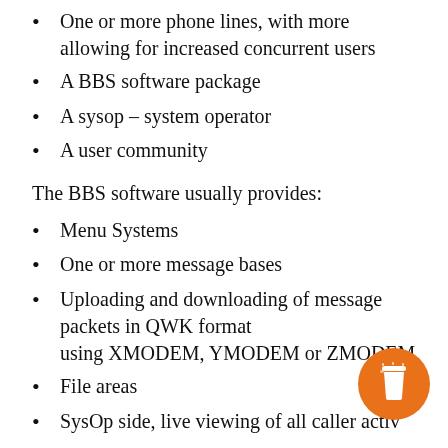One or more phone lines, with more allowing for increased concurrent users
A BBS software package
A sysop – system operator
A user community
The BBS software usually provides:
Menu Systems
One or more message bases
Uploading and downloading of message packets in QWK format using XMODEM, YMODEM or ZMODEM
File areas
SysOp side, live viewing of all caller activ…
Voting – opinion booths